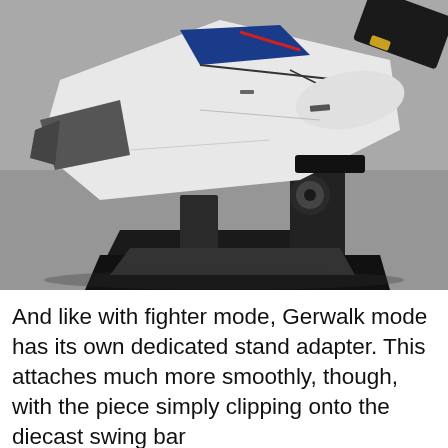[Figure (photo): Close-up photograph of a Gerwalk mode mecha/robot figure on a black display stand. The figure is white with blue and black accents, showing the lower body and stand adapter. The background is a gray surface.]
And like with fighter mode, Gerwalk mode has its own dedicated stand adapter. This attaches much more smoothly, though, with the piece simply clipping onto the diecast swing bar